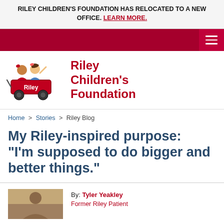RILEY CHILDREN'S FOUNDATION HAS RELOCATED TO A NEW OFFICE. LEARN MORE.
[Figure (logo): Riley Children's Foundation logo with wagon and children illustration]
Riley Children's Foundation
Home > Stories > Riley Blog
My Riley-inspired purpose: "I'm supposed to do bigger and better things."
By: Tyler Yeakley
Former Riley Patient